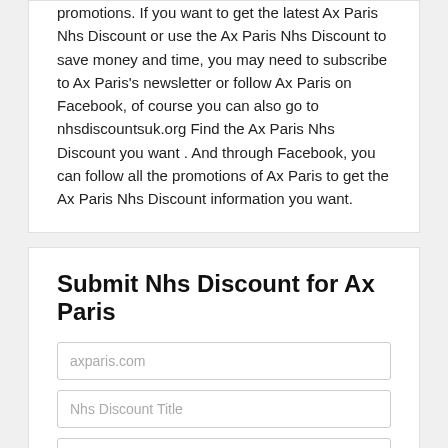promotions. If you want to get the latest Ax Paris Nhs Discount or use the Ax Paris Nhs Discount to save money and time, you may need to subscribe to Ax Paris's newsletter or follow Ax Paris on Facebook, of course you can also go to nhsdiscountsuk.org Find the Ax Paris Nhs Discount you want . And through Facebook, you can follow all the promotions of Ax Paris to get the Ax Paris Nhs Discount information you want.
Submit Nhs Discount for Ax Paris
axparis.com
Nhs Discount Title
Nhs Discount Code
Description
Expiration